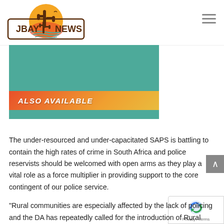[Figure (logo): JBay News logo with cactus and sunset graphic, orange circular background with brown cactus silhouette and bird, bordered rectangle with JBAY NEWS text]
[Figure (infographic): Teal/green promotional banner with orange-yellow gradient stripe at bottom reading ALSO AVAILABLE in bold white italic text]
The under-resourced and under-capacitated SAPS is battling to contain the high rates of crime in South Africa and police reservists should be welcomed with open arms as they play a vital role as a force multiplier in providing support to the core contingent of our police service.
“Rural communities are especially affected by the lack of policing and the DA has repeatedly called for the introduction of Rural Safety Units.